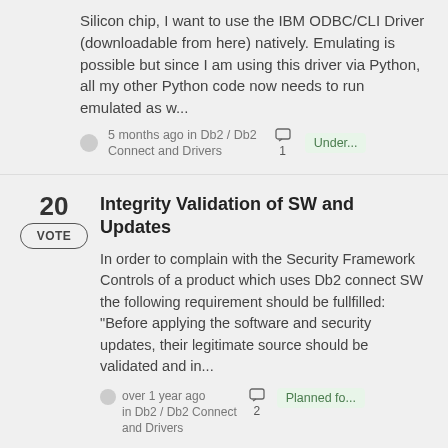Silicon chip, I want to use the IBM ODBC/CLI Driver (downloadable from here) natively. Emulating is possible but since I am using this driver via Python, all my other Python code now needs to run emulated as w...
5 months ago in Db2 / Db2 Connect and Drivers  [comment: 1]  Under...
20  VOTE
Integrity Validation of SW and Updates
In order to complain with the Security Framework Controls of a product which uses Db2 connect SW the following requirement should be fullfilled: "Before applying the software and security updates, their legitimate source should be validated and in...
over 1 year ago in Db2 / Db2 Connect and Drivers  [comment: 2]  Planned fo...